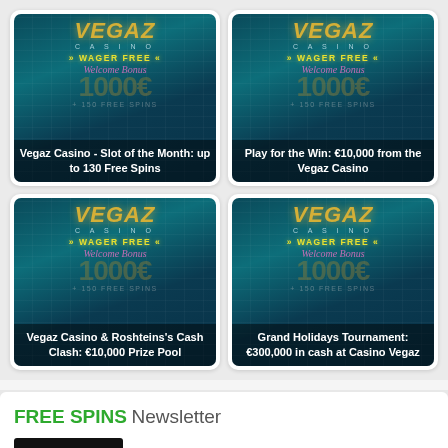[Figure (screenshot): Vegaz Casino - Slot of the Month: up to 130 Free Spins promotional card with casino branding on teal/dark background]
Vegaz Casino - Slot of the Month: up to 130 Free Spins
[Figure (screenshot): Play for the Win: €10,000 from the Vegaz Casino promotional card]
Play for the Win: €10,000 from the Vegaz Casino
[Figure (screenshot): Vegaz Casino & Roshteins's Cash Clash: €10,000 Prize Pool promotional card]
Vegaz Casino & Roshteins's Cash Clash: €10,000 Prize Pool
[Figure (screenshot): Grand Holidays Tournament: €300,000 in cash at Casino Vegaz promotional card]
Grand Holidays Tournament: €300,000 in cash at Casino Vegaz
FREE SPINS Newsletter
ums (it takes 30 seconds) and we'll give you